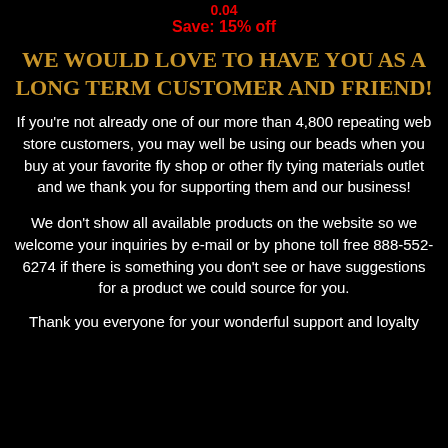0.04
Save: 15% off
We would love to have you as a long term customer and friend!
If you're not already one of our more than 4,800 repeating web store customers, you may well be using our beads when you buy at your favorite fly shop or other fly tying materials outlet and we thank you for supporting them and our business!
We don't show all available products on the website so we welcome your inquiries by e-mail or by phone toll free 888-552-6274 if there is something you don't see or have suggestions for a product we could source for you.
Thank you everyone for your wonderful support and loyalty